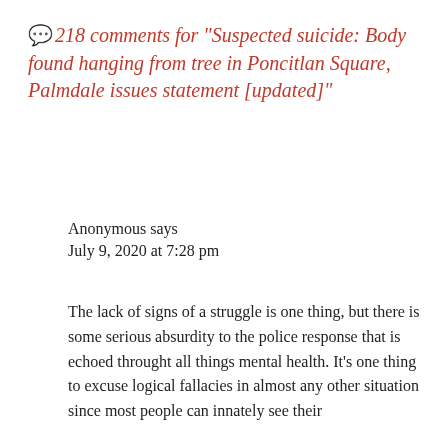💬218 comments for "Suspected suicide: Body found hanging from tree in Poncitlan Square, Palmdale issues statement [updated]"
Anonymous says
July 9, 2020 at 7:28 pm
The lack of signs of a struggle is one thing, but there is some serious absurdity to the police response that is echoed throught all things mental health. It's one thing to excuse logical fallacies in almost any other situation since most people can innately see their